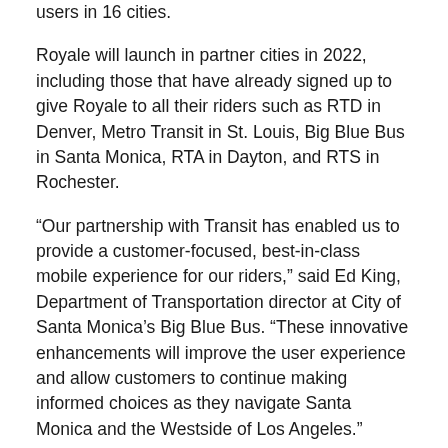users in 16 cities.
Royale will launch in partner cities in 2022, including those that have already signed up to give Royale to all their riders such as RTD in Denver, Metro Transit in St. Louis, Big Blue Bus in Santa Monica, RTA in Dayton, and RTS in Rochester.
“Our partnership with Transit has enabled us to provide a customer-focused, best-in-class mobile experience for our riders,” said Ed King, Department of Transportation director at City of Santa Monica’s Big Blue Bus. “These innovative enhancements will improve the user experience and allow customers to continue making informed choices as they navigate Santa Monica and the Westside of Los Angeles.”
Related: Transit App to Show Empty Seat